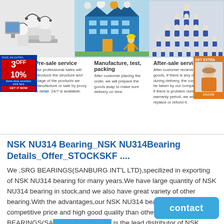[Figure (illustration): Three cartoon tech-support figures seated at computers with headsets]
[Figure (illustration): Factory/warehouse building illustration with worker in hard hat]
[Figure (illustration): Large group of workers in blue uniforms arranged in pyramid formation]
Pre-sale service
Our professional sales will introduce the structure and usage of the products we manufacture or sale by proxy in detail. 24/7 is available.
Manufacture, test, packing
After customer placing the order, we will prepare the goods asap to make sure delivery on time.
After-sale service
After customer recieve the goods, if there is any damage during delivery, the cost will be taken by our company, and if there is problem during the warranty period, we will replace or refund it.
NSK NU314 Bearing_NSK NU314Bearing Details_Offer_STOCKSKF ....
We ,SRG BEARINGS(SANBURG INT'L LTD),specilized in exporting of NSK NU314 bearing for many years.We have large quantity of NSK NU314 bearing in stock,and we also have great variety of other bearing.With the advantages,our NSK NU314 bearing own more competitive price and high good quality than other exporter..We ,SRG BEARINGS(SANBURG INT'L LTD) is the lead distributor of NSK NU314 bearing and we ...